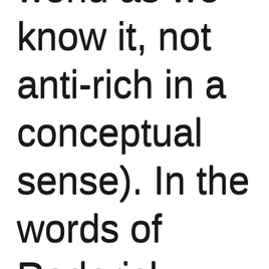world as we know it, not anti-rich in a conceptual sense). In the words of Roderick Long, “Libertarianism is the strongest i